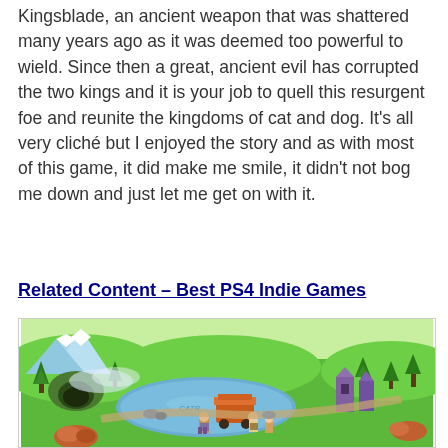Kingsblade, an ancient weapon that was shattered many years ago as it was deemed too powerful to wield. Since then a great, ancient evil has corrupted the two kings and it is your job to quell this resurgent foe and reunite the kingdoms of cat and dog. It's all very cliché but I enjoyed the story and as with most of this game, it did make me smile, it didn't not bog me down and just let me get on with it.
Related Content – Best PS4 Indie Games
[Figure (screenshot): Top-down view of a colorful cartoon/pixel-art game map showing green fields, a blue lake labeled 'CATB...', mountains, trees, and small character sprites. The scene is from a PS4 indie game.]